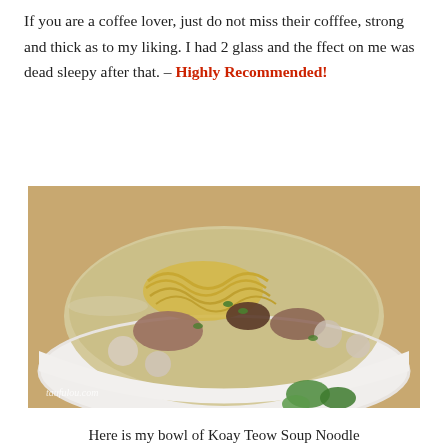If you are a coffee lover, just do not miss their cofffee, strong and thick as to my liking. I had 2 glass and the ffect on me was dead sleepy after that. – Highly Recommended!
[Figure (photo): A white bowl with green floral design containing noodle soup with yellow noodles, meat pieces, fish balls, and broth. Watermark reads taufulou.com.]
Here is my bowl of Koay Teow Soup Noodle